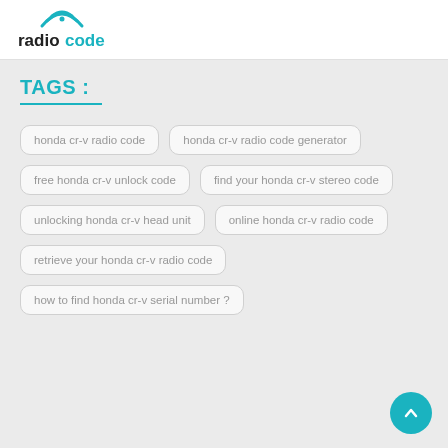[Figure (logo): radiocode logo with teal wifi/signal icon above the text, 'radio' in dark bold and 'code' in teal bold]
TAGS :
honda cr-v radio code
honda cr-v radio code generator
free honda cr-v unlock code
find your honda cr-v stereo code
unlocking honda cr-v head unit
online honda cr-v radio code
retrieve your honda cr-v radio code
how to find honda cr-v serial number ?